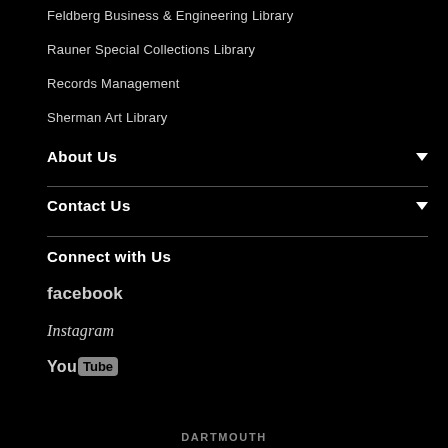Feldberg Business & Engineering Library
Rauner Special Collections Library
Records Management
Sherman Art Library
About Us
Contact Us
Connect with Us
facebook
Instagram
YouTube
DARTMOUTH